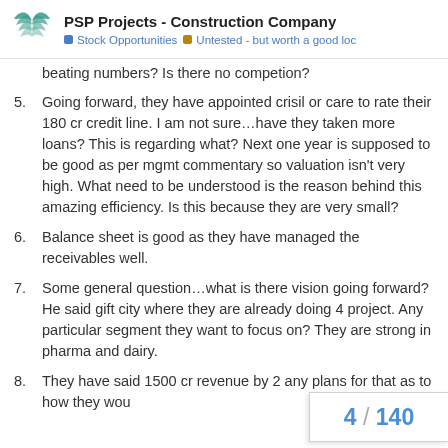PSP Projects - Construction Company | Stock Opportunities | Untested - but worth a good loc
beating numbers? Is there no competion?
5. Going forward, they have appointed crisil or care to rate their 180 cr credit line. I am not sure…have they taken more loans? This is regarding what? Next one year is supposed to be good as per mgmt commentary so valuation isn't very high. What need to be understood is the reason behind this amazing efficiency. Is this because they are very small?
6. Balance sheet is good as they have managed the receivables well.
7. Some general question…what is there vision going forward? He said gift city where they are already doing 4 project. Any particular segment they want to focus on? They are strong in pharma and dairy.
8. They have said 1500 cr revenue by 2… any plans for that as to how they wou…